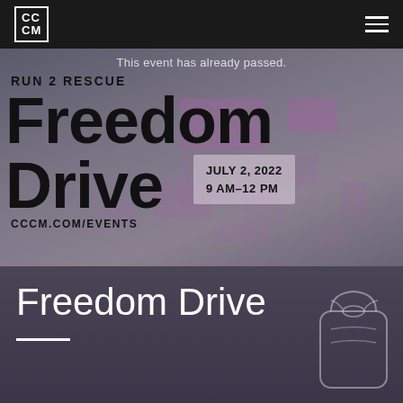CC CM (logo)
This event has already passed.
[Figure (infographic): Run 2 Rescue Freedom Drive event poster with large bold text 'Freedom Drive', date 'JULY 2, 2022 9 AM–12 PM', website 'CCCM.COM/EVENTS', decorative purple rectangles scattered in background on a dark grey background]
Freedom Drive